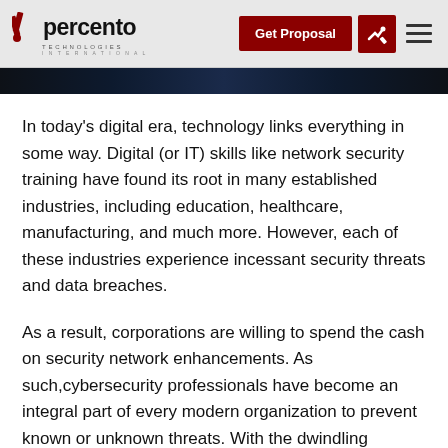xpercento Technologies International — Get Proposal
[Figure (photo): Dark blue/black image strip, partial hero image]
In today’s digital era, technology links everything in some way. Digital (or IT) skills like network security training have found its root in many established industries, including education, healthcare, manufacturing, and much more. However, each of these industries experience incessant security threats and data breaches.
As a result, corporations are willing to spend the cash on security network enhancements. As such,cybersecurity professionals have become an integral part of every modern organization to prevent known or unknown threats. With the dwindling number of cybersecurity